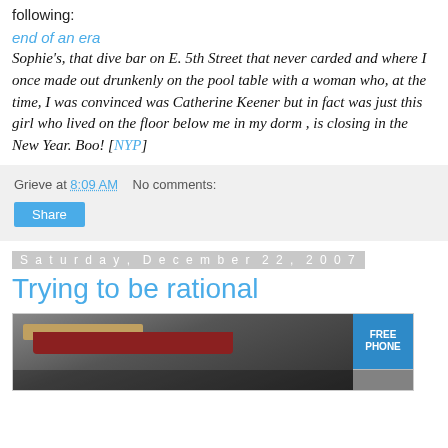following:
end of an era
Sophie's, that dive bar on E. 5th Street that never carded and where I once made out drunkenly on the pool table with a woman who, at the time, I was convinced was Catherine Keener but in fact was just this girl who lived on the floor below me in my dorm , is closing in the New Year. Boo! [NYP]
Grieve at 8:09 AM   No comments:
Share
Saturday, December 22, 2007
Trying to be rational
[Figure (photo): Street scene photo showing storefronts with awnings and a blue 'FREE PHONE' sign in the upper right corner]